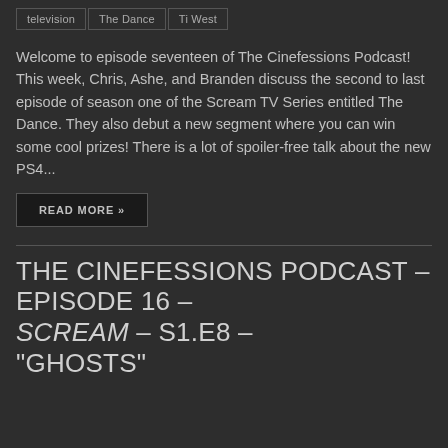television
The Dance
Ti West
Welcome to episode seventeen of The Cinefessions Podcast! This week, Chris, Ashe, and Branden discuss the second to last episode of season one of the Scream TV Series entitled The Dance. They also debut a new segment where you can win some cool prizes! There is a lot of spoiler-free talk about the new PS4...
READ MORE »
THE CINEFESSIONS PODCAST – EPISODE 16 – SCREAM – S1.E8 – "GHOSTS"